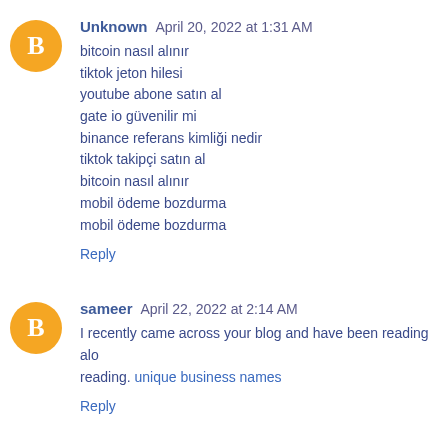Unknown April 20, 2022 at 1:31 AM
bitcoin nasıl alınır
tiktok jeton hilesi
youtube abone satın al
gate io güvenilir mi
binance referans kimliği nedir
tiktok takipçi satın al
bitcoin nasıl alınır
mobil ödeme bozdurma
mobil ödeme bozdurma
Reply
sameer April 22, 2022 at 2:14 AM
I recently came across your blog and have been reading alo reading. unique business names
Reply
m.ali May 15, 2022 at 9:33 AM